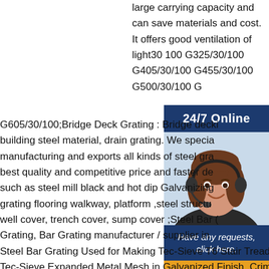large carrying capacity and can save materials and cost. It offers good ventilation of light30 100 G325/30/100 G405/30/100 G455/30/100 G500/30/100 G
[Figure (photo): Customer service agent woman with headset, smiling, with '24/7 Online' bar above and 'Have any requests, click here.' text below, and an orange 'Quotation' button.]
G605/30/100;Bridge Deck Grating : Bridge decking building steel material, drain grating. We specialize in manufacturing and exports all kinds of steel grating with best quality and competitive price and faster delivery such as steel mill black and hot dip Galvanizing, grating flooring walkway, platform ,steel structure well cover, trench cover, sump cover ;Steel Bar Grating, Bar Grating manufacturer / supplier in Steel Bar Grating Used for Making Tec-Sieve T6 Stair Treads, Tec-Sieve Expanded Metal Mesh in Galvanized Finish, Crimped